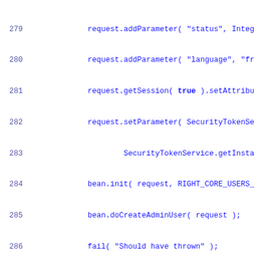[Figure (screenshot): Source code snippet showing Java code lines 279-306 with line numbers, featuring try-catch-finally block with AdminUser and AdminMessage operations, with keywords in bold and string literals highlighted.]